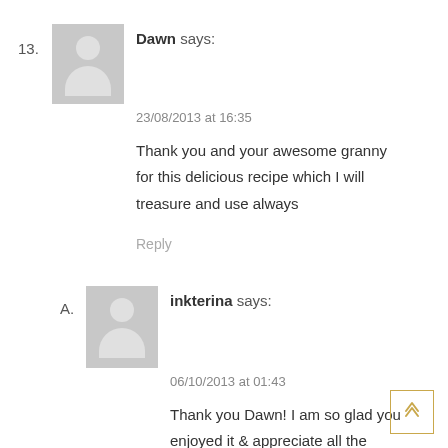13. Dawn says: 23/08/2013 at 16:35 Thank you and your awesome granny for this delicious recipe which I will treasure and use always
Reply
A. inkterina says: 06/10/2013 at 01:43 Thank you Dawn! I am so glad you enjoyed it & appreciate all the comments so much! 🙂